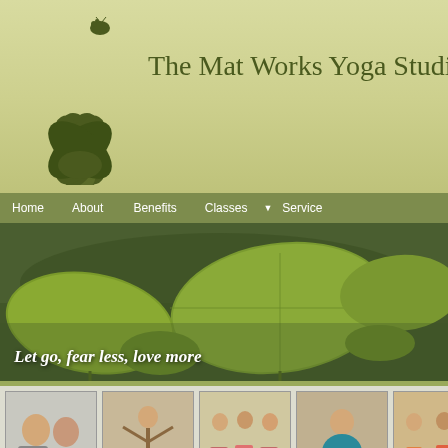[Figure (logo): Green lotus flower with ladybug SVG logo for The Mat Works Yoga Studio]
The Mat Works Yoga Studio
Home | About | Benefits | Classes | Services
[Figure (photo): Hero photo of lily pads on water with tagline 'Let go, fear less, love more']
Let go, fear less, love more
[Figure (photo): Five thumbnail photos of yoga students and instructors]
Welcome to Mat Works Yoga
The Mat Works Yoga Studio is dedicated to the teaching and practice of Hatha Yoga for health and fitness by offering multi level group classes and private instruction in a safe and supportive environment. The studio located at 463A Calhoun Ave in Greenwood, SC offers a serene setting for your yoga practice. The studio is fully equipped with yoga props to
Announcements:
Deb is now available for Private Sessions. Call/Text f
Yoga and Mudras Saturday April 29 A mudra is a gesture that focuses and dire... yoga or meditatio...